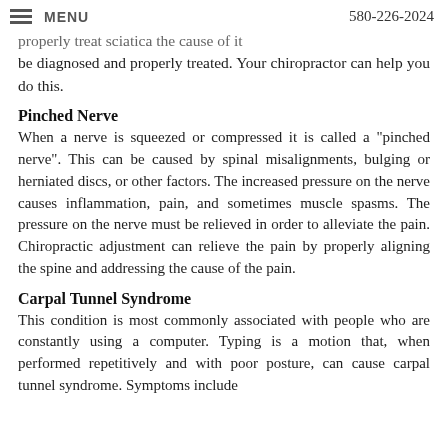MENU   580-226-2024
properly treat sciatica the cause of it be diagnosed and properly treated. Your chiropractor can help you do this.
Pinched Nerve
When a nerve is squeezed or compressed it is called a "pinched nerve". This can be caused by spinal misalignments, bulging or herniated discs, or other factors. The increased pressure on the nerve causes inflammation, pain, and sometimes muscle spasms. The pressure on the nerve must be relieved in order to alleviate the pain. Chiropractic adjustment can relieve the pain by properly aligning the spine and addressing the cause of the pain.
Carpal Tunnel Syndrome
This condition is most commonly associated with people who are constantly using a computer. Typing is a motion that, when performed repetitively and with poor posture, can cause carpal tunnel syndrome. Symptoms include